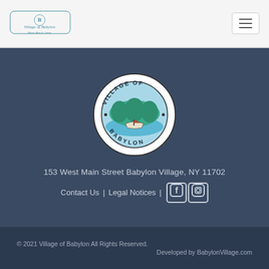Village of Babylon — Mayor Mary E. Adams (logo and navigation)
[Figure (logo): Village of Babylon official seal — circular seal with text VILLAGE OF BABYLON and a harbor/boat scene illustration in teal and white]
153 West Main Street Babylon Village, NY 11702
Contact Us | Legal Notices | [Facebook icon] [Instagram icon]
© 2021 Village of Babylon All Rights Reserved. Developed by BabylonVillage.com